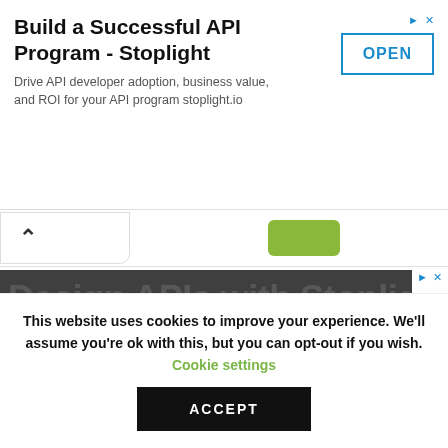[Figure (screenshot): Advertisement banner: 'Build a Successful API Program - Stoplight' with OPEN button]
Build a Successful API Program - Stoplight
Drive API developer adoption, business value, and ROI for your API program stoplight.io
[Figure (screenshot): Collapsed panel with chevron up arrow and green pill button]
[Figure (screenshot): Second advertisement area with Stoplight ad]
Design APIs with Stoplight
We are using cookies to give you the best experience on our
This website uses cookies to ensure you get the best experience on our website.
Learn more
This website uses cookies to improve your experience. We'll assume you're ok with this, but you can opt-out if you wish.
Cookie settings
ACCEPT